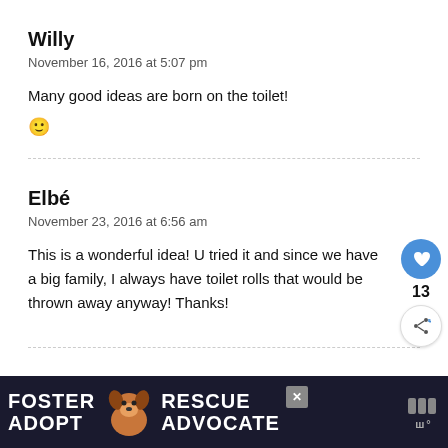Willy
November 16, 2016 at 5:07 pm
Many good ideas are born on the toilet!
🙂
Elbé
November 23, 2016 at 6:56 am
This is a wonderful idea! U tried it and since we have a big family, I always have toilet rolls that would be thrown away anyway! Thanks!
[Figure (other): Foster Adopt Advocate advertisement banner with a beagle dog image on dark background]
[Figure (other): Heart like button (blue circle) showing count 13 and a share button below]